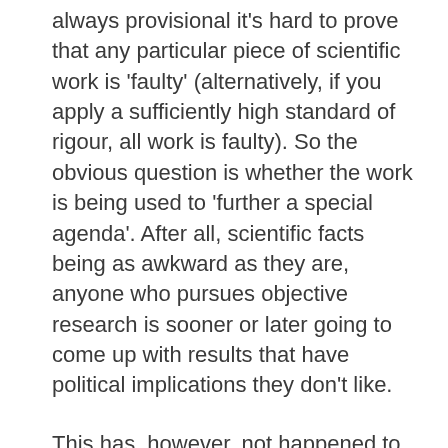always provisional it's hard to prove that any particular piece of scientific work is 'faulty' (alternatively, if you apply a sufficiently high standard of rigour, all work is faulty). So the obvious question is whether the work is being used to 'further a special agenda'. After all, scientific facts being as awkward as they are, anyone who pursues objective research is sooner or later going to come up with results that have political implications they don't like.
This has, however, not happened to Milloy, as far as I can see. I went through his site, and failed to find a single instance where the results he reported weren't in line with the poltical agenda of the Cato Institute. On some issues, such as global warming, his claims are clearly inconsistent with the views of even the